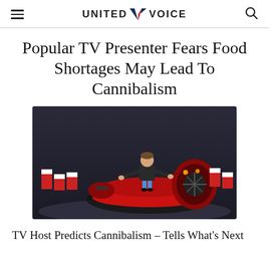UNITED VOICE
Popular TV Presenter Fears Food Shortages May Lead To Cannibalism
[Figure (photo): A man standing on a red hovercraft vehicle on an indoor track with barriers in the background, arms outstretched]
TV Host Predicts Cannibalism – Tells What's Next